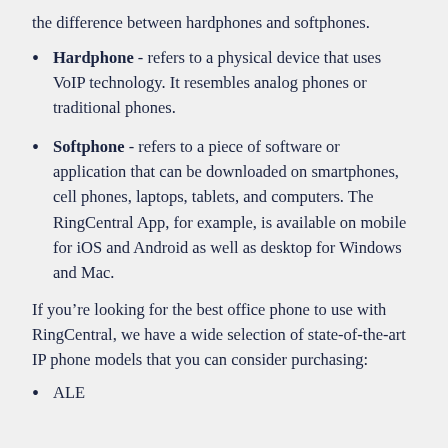the difference between hardphones and softphones.
Hardphone - refers to a physical device that uses VoIP technology. It resembles analog phones or traditional phones.
Softphone - refers to a piece of software or application that can be downloaded on smartphones, cell phones, laptops, tablets, and computers. The RingCentral App, for example, is available on mobile for iOS and Android as well as desktop for Windows and Mac.
If you’re looking for the best office phone to use with RingCentral, we have a wide selection of state-of-the-art IP phone models that you can consider purchasing:
ALE